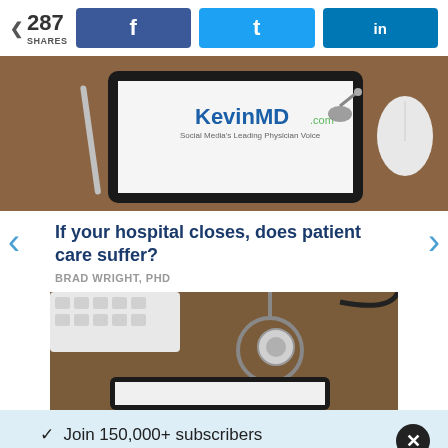287 SHARES | Facebook share | Twitter share | LinkedIn share
[Figure (photo): KevinMD.com website shown on a tablet resting on a wooden desk, with a stylus pen to the left and a white mouse to the right]
If your hospital closes, does patient care suffer?
BRAD WRIGHT, PHD
[Figure (photo): Medical scene with a stethoscope and keyboard on a wooden desk, with a tablet showing a white screen in the foreground]
Join 150,000+ subscribers
Get KevinMD's most popular stories
Email | Subscribe. It's free.